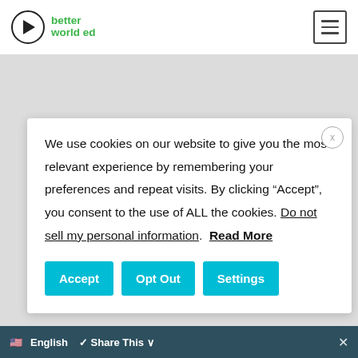better world ed
Education & School, Leadership,
We use cookies on our website to give you the most relevant experience by remembering your preferences and repeat visits. By clicking “Accept”, you consent to the use of ALL the cookies. Do not sell my personal information. Read More
Accept | Opt Out | Settings
English | Share This | x